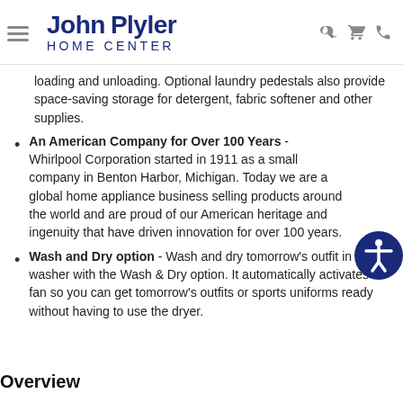John Plyler HOME CENTER
loading and unloading. Optional laundry pedestals also provide space-saving storage for detergent, fabric softener and other supplies.
An American Company for Over 100 Years - Whirlpool Corporation started in 1911 as a small company in Benton Harbor, Michigan. Today we are a global home appliance business selling products around the world and are proud of our American heritage and ingenuity that have driven innovation for over 100 years.
Wash and Dry option - Wash and dry tomorrow's outfit in the washer with the Wash & Dry option. It automatically activates a fan so you can get tomorrow's outfits or sports uniforms ready without having to use the dryer.
Overview